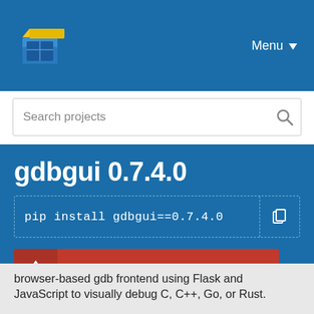Menu
Search projects
gdbgui 0.7.4.0
pip install gdbgui==0.7.4.0
Newer version available (0.15.1.0)
Released: Feb 28, 2017
browser-based gdb frontend using Flask and JavaScript to visually debug C, C++, Go, or Rust.